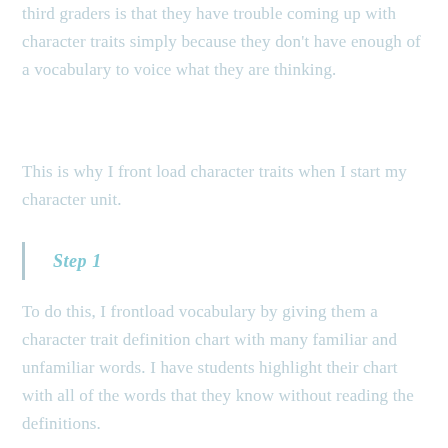third graders is that they have trouble coming up with character traits simply because they don't have enough of a vocabulary to voice what they are thinking.
This is why I front load character traits when I start my character unit.
Step 1
To do this, I frontload vocabulary by giving them a character trait definition chart with many familiar and unfamiliar words.  I have students highlight their chart with all of the words that they know without reading the definitions.